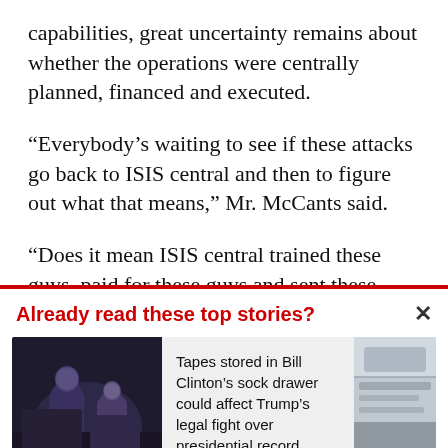capabilities, great uncertainty remains about whether the operations were centrally planned, financed and executed.
“Everybody’s waiting to see if these attacks go back to ISIS central and then to figure out what that means,” Mr. McCants said.
“Does it mean ISIS central trained these guys, paid for these guys and sent these guys? Does it mean central didn’t follow the day-to-
Already read these top stories?
Tapes stored in Bill Clinton’s sock drawer could affect Trump’s legal fight over presidential record